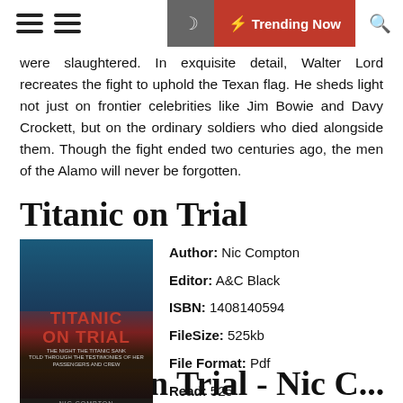Trending Now
were slaughtered. In exquisite detail, Walter Lord recreates the fight to uphold the Texan flag. He sheds light not just on frontier celebrities like Jim Bowie and Davy Crockett, but on the ordinary soldiers who died alongside them. Though the fight ended two centuries ago, the men of the Alamo will never be forgotten.
Titanic on Trial
[Figure (photo): Book cover of Titanic on Trial by Nic Compton showing stormy ocean scene and group of men]
Author: Nic Compton
Editor: A&C Black
ISBN: 1408140594
FileSize: 525kb
File Format: Pdf
Read: 525
GET BOOK
Titanic on Trial - Nic...